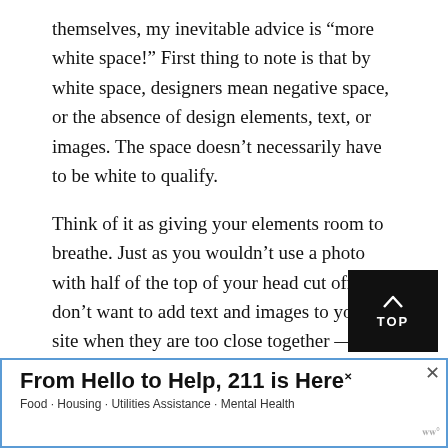themselves, my inevitable advice is “more white space!” First thing to note is that by white space, designers mean negative space, or the absence of design elements, text, or images. The space doesn’t necessarily have to be white to qualify.
Think of it as giving your elements room to breathe. Just as you wouldn’t use a photo with half of the top of your head cut off, you don’t want to add text and images to your site when they are too close together — it will come off as cramped and uncomfortable to the eye. More white space = a cleaner, more modern design. I love the “spacer” tool in Squarespace for easily creating white space around your elements when you need to. Here’s an example:
[Figure (other): TOP button - black square with upward arrow and text 'TOP']
[Figure (other): Advertisement banner: 'From Hello to Help, 211 is Here' with subtitle 'Food · Housing · Utilities Assistance · Mental Health']